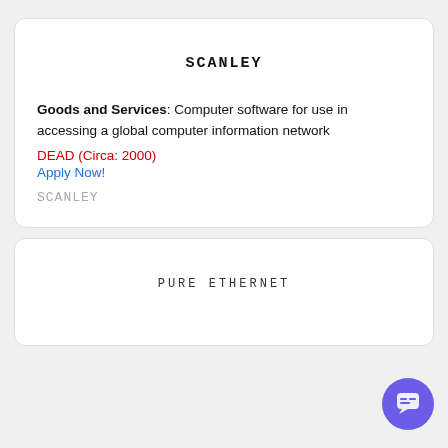SCANLEY
Goods and Services: Computer software for use in accessing a global computer information network
DEAD (Circa: 2000)
Apply Now!
SCANLEY
PURE  ETHERNET